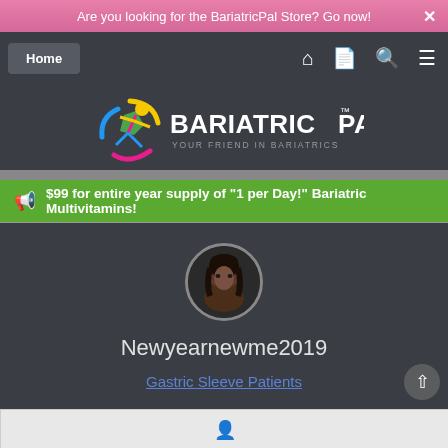Are you looking for the BariatricPal Store? Go now!
[Figure (screenshot): Navigation bar with Home button and icons for home, document, search, and menu on dark background]
[Figure (logo): BariatricPal logo with colorful circular figure icon and text BARIATRIC PAL with tagline YOUR FRIEND IN BARIATRICS]
$99 for entire year supply of "1 per Day!" Bariatric Multivitamins!
[Figure (photo): Circular profile photo of a woman with dark hair on dark background]
Newyearnewme2019
Gastric Sleeve Patients